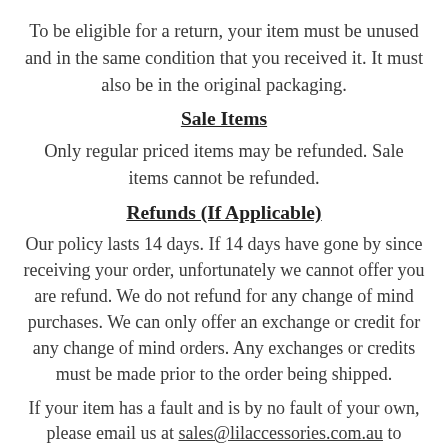To be eligible for a return, your item must be unused and in the same condition that you received it. It must also be in the original packaging.
Sale Items
Only regular priced items may be refunded. Sale items cannot be refunded.
Refunds (If Applicable)
Our policy lasts 14 days. If 14 days have gone by since receiving your order, unfortunately we cannot offer you are refund. We do not refund for any change of mind purchases. We can only offer an exchange or credit for any change of mind orders. Any exchanges or credits must be made prior to the order being shipped.
If your item has a fault and is by no fault of your own, please email us at sales@lilaccessories.com.au to